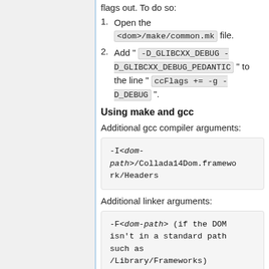flags out. To do so:
1. Open the <dom>/make/common.mk file.
2. Add " -D_GLIBCXX_DEBUG -D_GLIBCXX_DEBUG_PEDANTIC " to the line " ccFlags += -g -D_DEBUG ".
Using make and gcc
Additional gcc compiler arguments:
[Figure (other): Code block: -I<dom-path>/Collada14Dom.framework/Headers]
Additional linker arguments:
[Figure (other): Code block: -F<dom-path> (if the DOM isn't in a standard path such as /Library/Frameworks)]